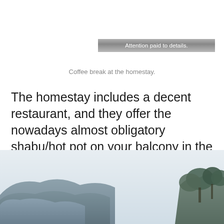Attention paid to details.
Coffee break at the homestay.
The homestay includes a decent restaurant, and they offer the nowadays almost obligatory shabu/hot pot on your balcony in the evening for an extra 500 baht.
[Figure (photo): Scenic mountain landscape with hills and trees, hazy sky, viewed from a homestay balcony area.]